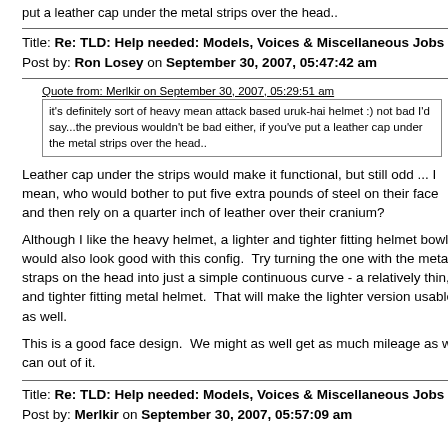put a leather cap under the metal strips over the head..
Title: Re: TLD: Help needed: Models, Voices & Miscellaneous Jobs
Post by: Ron Losey on September 30, 2007, 05:47:42 am
Quote from: Merlkir on September 30, 2007, 05:29:51 am
it's definitely sort of heavy mean attack based uruk-hai helmet :) not bad I'd say...the previous wouldn't be bad either, if you've put a leather cap under the metal strips over the head..
Leather cap under the strips would make it functional, but still odd ... I mean, who would bother to put five extra pounds of steel on their face and then rely on a quarter inch of leather over their cranium?

Although I like the heavy helmet, a lighter and tighter fitting helmet bowl would also look good with this config.  Try turning the one with the metal straps on the head into just a simple continuous curve - a relatively thin, and tighter fitting metal helmet.  That will make the lighter version usable as well.

This is a good face design.  We might as well get as much mileage as we can out of it.
Title: Re: TLD: Help needed: Models, Voices & Miscellaneous Jobs
Post by: Merlkir on September 30, 2007, 05:57:09 am